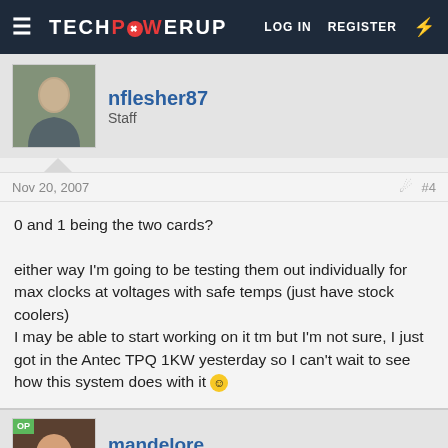TECHPOWERUP — LOG IN  REGISTER
[Figure (photo): Avatar photo of user nflesher87, a person in casual clothing]
nflesher87
Staff
Nov 20, 2007   #4
0 and 1 being the two cards?

either way I'm going to be testing them out individually for max clocks at voltages with safe temps (just have stock coolers)
I may be able to start working on it tm but I'm not sure, I just got in the Antec TPQ 1KW yesterday so I can't wait to see how this system does with it :)
[Figure (photo): Avatar photo of user mandelore with OP badge overlay]
mandelore
★★★★★
Nov 20, 2007   #5